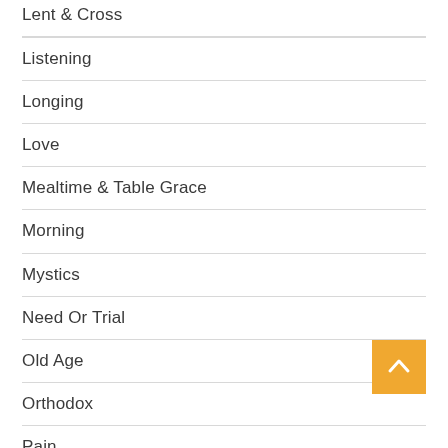Lent & Cross
Listening
Longing
Love
Mealtime & Table Grace
Morning
Mystics
Need Or Trial
Old Age
Orthodox
Pain
Pastors